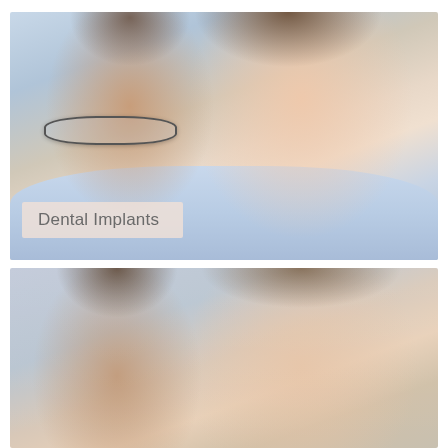[Figure (photo): Smiling older couple, man with glasses on left leaning in, woman on right with brown hair, both laughing, light blue background. Overlaid semi-transparent label reading 'Dental Implants' in lower left area.]
Dental Implants
[Figure (photo): Close-up of a younger couple, man on left with dark hair, woman on right with highlighted brown hair, both smiling, cropped at forehead level, light background.]